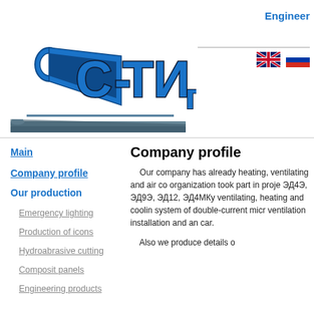[Figure (logo): C-TIGR company logo with Cyrillic letters С-ТИгр and a pipe/beam graphic in blue and dark navy]
Engineer
[Figure (illustration): UK flag icon]
[Figure (illustration): Russian flag icon]
Company profile
Main
Company profile
Our production
Emergency lighting
Production of icons
Hydroabrasive cutting
Composit panels
Engineering products
Our company has already heating, ventilating and air co organization took part in proje ЭД4Э, ЭД9Э, ЭД12, ЭД4МКу ventilating, heating and coolin system of double-current micr ventilation installation and an car.
Also we produce details o